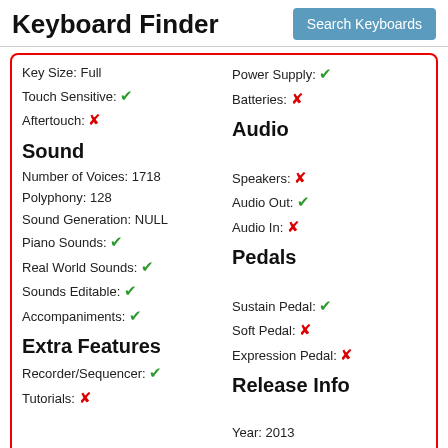Keyboard Finder
Search Keyboards
Key Size: Full
Touch Sensitive: ✔
Aftertouch: ✘
Power Supply: ✔
Batteries: ✘
Sound
Audio
Number of Voices: 1718
Polyphony: 128
Sound Generation: NULL
Piano Sounds: ✔
Real World Sounds: ✔
Sounds Editable: ✔
Accompaniments: ✔
Speakers: ✘
Audio Out: ✔
Audio In: ✘
Pedals
Sustain Pedal: ✔
Soft Pedal: ✘
Expression Pedal: ✘
Extra Features
Release Info
Recorder/Sequencer: ✔
Tutorials: ✘
Year: 2013
RRP: $0
Shop Now